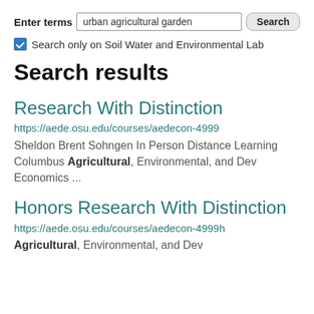Enter terms  urban agricultural garden  Search
Search only on Soil Water and Environmental Lab
Search results
Research With Distinction
https://aede.osu.edu/courses/aedecon-4999
Sheldon Brent Sohngen In Person Distance Learning Columbus Agricultural, Environmental, and Dev Economics ...
Honors Research With Distinction
https://aede.osu.edu/courses/aedecon-4999h
Agricultural, Environmental, and Dev